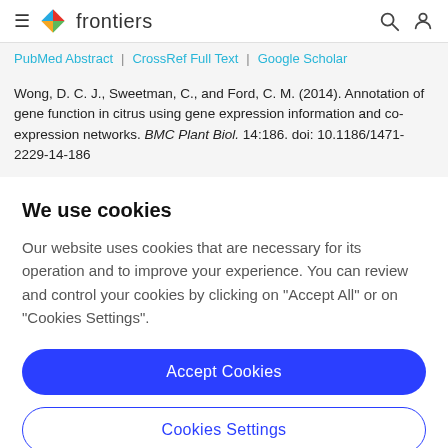frontiers
PubMed Abstract | CrossRef Full Text | Google Scholar
Wong, D. C. J., Sweetman, C., and Ford, C. M. (2014). Annotation of gene function in citrus using gene expression information and co-expression networks. BMC Plant Biol. 14:186. doi: 10.1186/1471-2229-14-186
We use cookies
Our website uses cookies that are necessary for its operation and to improve your experience. You can review and control your cookies by clicking on "Accept All" or on "Cookies Settings".
Accept Cookies
Cookies Settings